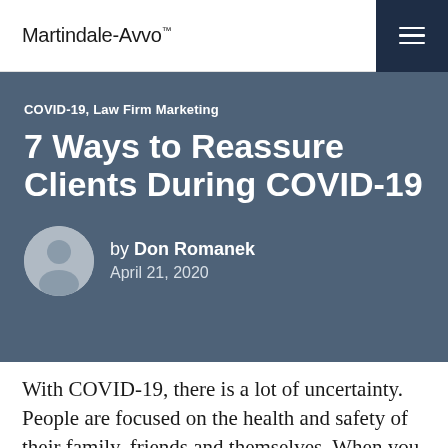Martindale-Avvo™
COVID-19, Law Firm Marketing
7 Ways to Reassure Clients During COVID-19
by Don Romanek
April 21, 2020
With COVID-19, there is a lot of uncertainty. People are focused on the health and safety of their family, friends and themselves. When you add to that the rocky financial markets and job outlook, it is easy to